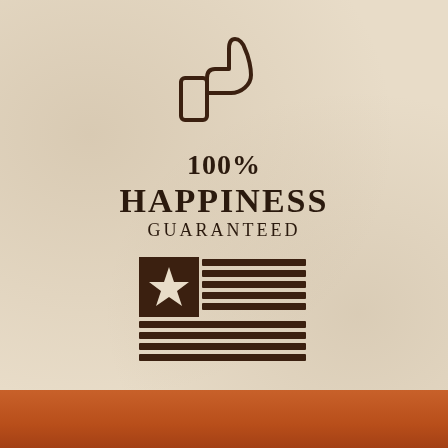[Figure (illustration): Thumbs up icon outline in dark brown color]
100% HAPPINESS GUARANTEED
[Figure (illustration): Stylized American flag icon in dark brown with star and horizontal stripes]
MADE IN THE USA